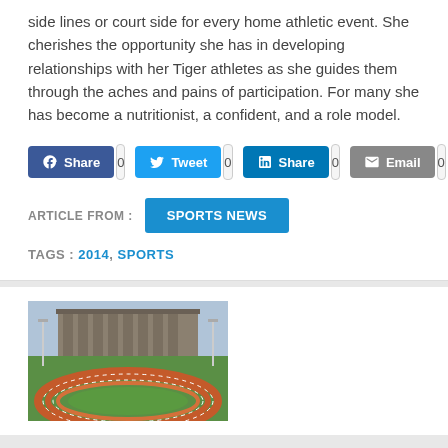side lines or court side for every home athletic event. She cherishes the opportunity she has in developing relationships with her Tiger athletes as she guides them through the aches and pains of participation. For many she has become a nutritionist, a confident, and a role model.
Share 0  Tweet 0  Share 0  Email 0
ARTICLE FROM : SPORTS NEWS
TAGS : 2014, SPORTS
[Figure (photo): Outdoor athletic track with red running lanes and green field, with a large brick building in the background.]